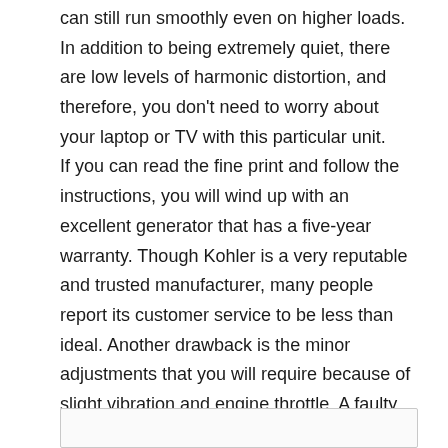can still run smoothly even on higher loads. In addition to being extremely quiet, there are low levels of harmonic distortion, and therefore, you don't need to worry about your laptop or TV with this particular unit. If you can read the fine print and follow the instructions, you will wind up with an excellent generator that has a five-year warranty. Though Kohler is a very reputable and trusted manufacturer, many people report its customer service to be less than ideal. Another drawback is the minor adjustments that you will require because of slight vibration and engine throttle. A faulty carburetor can be the cause of it, but it is relatively cheap to replace. Click here for the latest prices on Amazon.